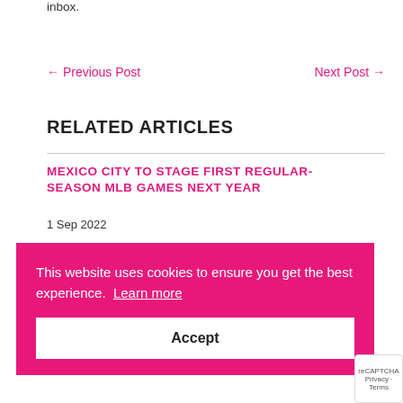inbox.
← Previous Post    Next Post →
RELATED ARTICLES
MEXICO CITY TO STAGE FIRST REGULAR-SEASON MLB GAMES NEXT YEAR
1 Sep 2022
This website uses cookies to ensure you get the best experience. Learn more
Accept